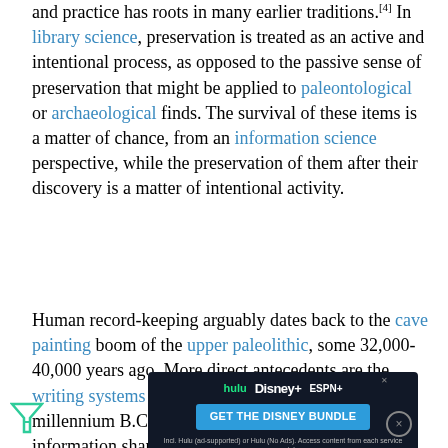and practice has roots in many earlier traditions.[4] In library science, preservation is treated as an active and intentional process, as opposed to the passive sense of preservation that might be applied to paleontological or archaeological finds. The survival of these items is a matter of chance, from an information science perspective, while the preservation of them after their discovery is a matter of intentional activity.
Human record-keeping arguably dates back to the cave painting boom of the upper paleolithic, some 32,000-40,000 years ago. More direct antecedents are the writing systems that developed in the fourth millennium B.C.E. Written record keeping and information sharing practices, along with oral tradition, sustain and transmit information from one group to another. This level of preservation has been s[ad overlay]...profession in the cultural heritage community.
[Figure (screenshot): Advertisement banner for Disney Bundle (Hulu, Disney+, ESPN+) with dark background and blue call-to-action button]